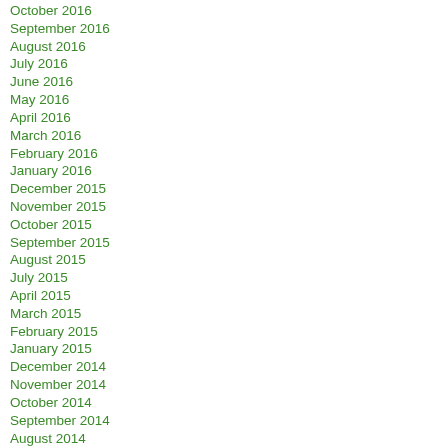October 2016
September 2016
August 2016
July 2016
June 2016
May 2016
April 2016
March 2016
February 2016
January 2016
December 2015
November 2015
October 2015
September 2015
August 2015
July 2015
April 2015
March 2015
February 2015
January 2015
December 2014
November 2014
October 2014
September 2014
August 2014